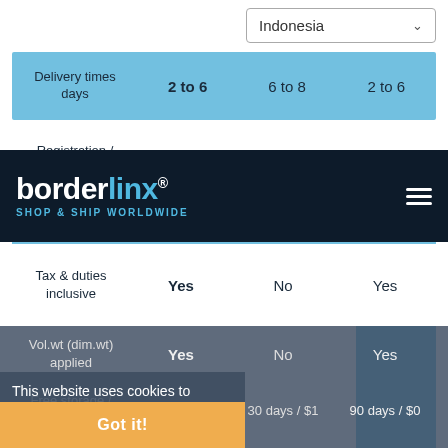|  | Col1 | Col2 | Col3 |
| --- | --- | --- | --- |
| Delivery times days | 2 to 6 | 6 to 8 | 2 to 6 |
| Registration / option |  |  |  |
| Tax & duties inclusive | Yes | No | Yes |
| Vol.wt (dim.wt) applied | Yes | No | Yes |
| Free storage / Daily fee | 30 days / $5 | 30 days / $1 | 90 days / $0 |
[Figure (screenshot): Borderlinx navigation bar with logo reading 'borderlinx SHOP & SHIP WORLDWIDE' on dark navy background with hamburger menu icon]
This website uses cookies to ensure you get the best experience on our website. Learn more
Got it!